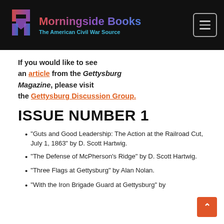Morningside Books – The American Civil War Source
If you would like to see an article from the Gettysburg Magazine, please visit the Gettysburg Discussion Group.
ISSUE NUMBER 1
“Guts and Good Leadership: The Action at the Railroad Cut, July 1, 1863” by D. Scott Hartwig.
“The Defense of McPherson’s Ridge” by D. Scott Hartwig.
“Three Flags at Gettysburg” by Alan Nolan.
“With the Iron Brigade Guard at Gettysburg” by